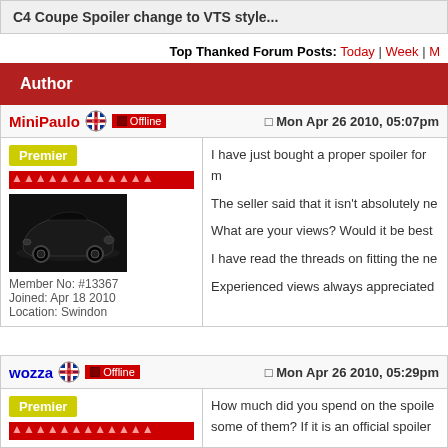C4 Coupe Spoiler change to VTS style...
Top Thanked Forum Posts: Today | Week | M
Author
MiniPaulo  Offline  Mon Apr 26 2010, 05:07pm
Premier
Member No: #13367
Joined: Apr 18 2010
Location: Swindon
I have just bought a proper spoiler for m
The seller said that it isn't absolutely ne
What are your views? Would it be best
I have read the threads on fitting the ne
Experienced views always appreciated
wozza  Offline  Mon Apr 26 2010, 05:29pm
Premier
How much did you spend on the spoile some of them? If it is an official spoiler